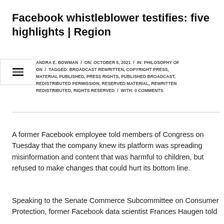Facebook whistleblower testifies: five highlights | Region
ANDRA E. BOWMAN / ON: OCTOBER 5, 2021 / IN: PHILOSOPHY OF ON / TAGGED: BROADCAST REWRITTEN, COPYRIGHT PRESS, MATERIAL PUBLISHED, PRESS RIGHTS, PUBLISHED BROADCAST, REDISTRIBUTED PERMISSION, RESERVED MATERIAL, REWRITTEN REDISTRIBUTED, RIGHTS RESERVED / WITH: 0 COMMENTS
A former Facebook employee told members of Congress on Tuesday that the company knew its platform was spreading misinformation and content that was harmful to children, but refused to make changes that could hurt its bottom line.
Speaking to the Senate Commerce Subcommittee on Consumer Protection, former Facebook data scientist Frances Haugen told